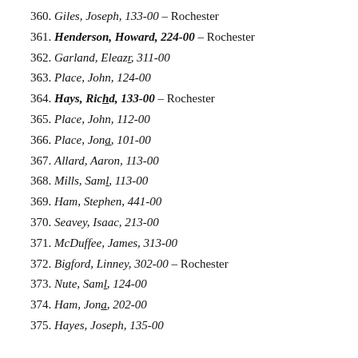360. Giles, Joseph, 133-00 – Rochester
361. Henderson, Howard, 224-00 – Rochester
362. Garland, Eleazr, 311-00
363. Place, John, 124-00
364. Hays, Richd, 133-00 – Rochester
365. Place, John, 112-00
366. Place, Jona, 101-00
367. Allard, Aaron, 113-00
368. Mills, Saml, 113-00
369. Ham, Stephen, 441-00
370. Seavey, Isaac, 213-00
371. McDuffee, James, 313-00
372. Bigford, Linney, 302-00 – Rochester
373. Nute, Saml, 124-00
374. Ham, Jona, 202-00
375. Hayes, Joseph, 135-00